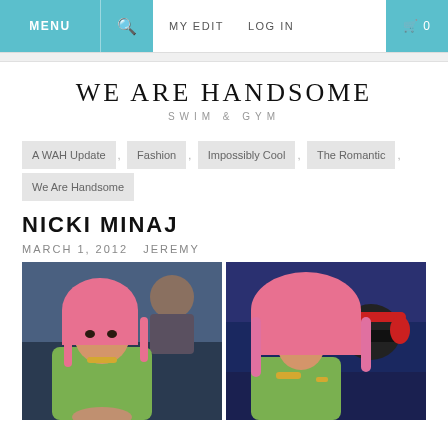MENU | Search | MY EDIT | LOG IN | Cart 0
WE ARE HANDSOME
SWIM & GYM
A WAH Update , Fashion , Impossibly Cool , The Romantic , We Are Handsome
NICKI MINAJ
MARCH 1, 2012 JEREMY
[Figure (photo): Two photos of Nicki Minaj wearing a pink wig at what appears to be a basketball game. Left photo shows her seated looking at camera. Right photo shows her kissing someone wearing a cap with Beats headphones.]